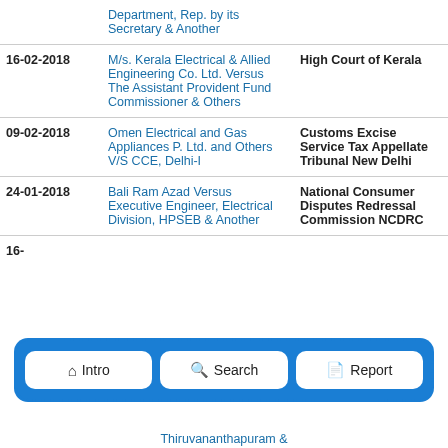| Date | Case | Court |
| --- | --- | --- |
|  | Department, Rep. by its Secretary & Another |  |
| 16-02-2018 | M/s. Kerala Electrical & Allied Engineering Co. Ltd. Versus The Assistant Provident Fund Commissioner & Others | High Court of Kerala |
| 09-02-2018 | Omen Electrical and Gas Appliances P. Ltd. and Others V/S CCE, Delhi-I | Customs Excise Service Tax Appellate Tribunal New Delhi |
| 24-01-2018 | Bali Ram Azad Versus Executive Engineer, Electrical Division, HPSEB & Another | National Consumer Disputes Redressal Commission NCDRC |
| 16- |  | Thiruvananthapuram & |
[Figure (screenshot): Navigation bar with three buttons: Intro (home icon), Search (magnifier icon), Report (document icon), on a blue dashed background]